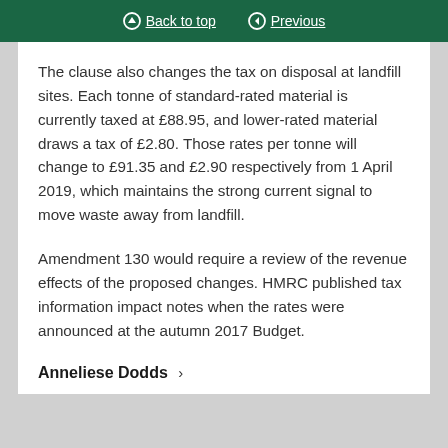Back to top  Previous
The clause also changes the tax on disposal at landfill sites. Each tonne of standard-rated material is currently taxed at £88.95, and lower-rated material draws a tax of £2.80. Those rates per tonne will change to £91.35 and £2.90 respectively from 1 April 2019, which maintains the strong current signal to move waste away from landfill.
Amendment 130 would require a review of the revenue effects of the proposed changes. HMRC published tax information impact notes when the rates were announced at the autumn 2017 Budget.
Anneliese Dodds